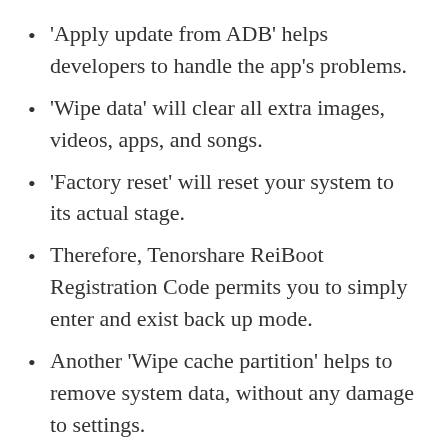‘Apply update from ADB’ helps developers to handle the app’s problems.
‘Wipe data’ will clear all extra images, videos, apps, and songs.
‘Factory reset’ will reset your system to its actual stage.
Therefore, Tenorshare ReiBoot Registration Code permits you to simply enter and exist back up mode.
Another ‘Wipe cache partition’ helps to remove system data, without any damage to settings.
‘Reboot system now’ will restart your